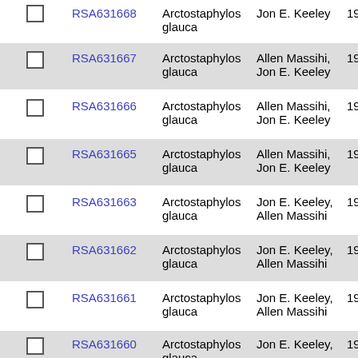|  | ID | Species | Collector | Date |  |
| --- | --- | --- | --- | --- | --- |
|  | RSA631668 | Arctostaphylos glauca | Jon E. Keeley | 1992-6-30 | 15 |
|  | RSA631667 | Arctostaphylos glauca | Allen Massihi, Jon E. Keeley | 1992-6-30 | 15 |
|  | RSA631666 | Arctostaphylos glauca | Allen Massihi, Jon E. Keeley | 1992-6-30 | 15 |
|  | RSA631665 | Arctostaphylos glauca | Allen Massihi, Jon E. Keeley | 1992-6-30 | 15 |
|  | RSA631663 | Arctostaphylos glauca | Jon E. Keeley, Allen Massihi | 1992-8-20 | 20 |
|  | RSA631662 | Arctostaphylos glauca | Jon E. Keeley, Allen Massihi | 1992-8-20 | 20 |
|  | RSA631661 | Arctostaphylos glauca | Jon E. Keeley, Allen Massihi | 1992-8-20 | 20 |
|  | RSA631660 | Arctostaphylos glauca | Jon E. Keeley, | 1992-8-20 |  |